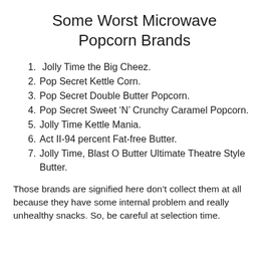Some Worst Microwave Popcorn Brands
Jolly Time the Big Cheez.
Pop Secret Kettle Corn.
Pop Secret Double Butter Popcorn.
Pop Secret Sweet ‘N’ Crunchy Caramel Popcorn.
Jolly Time Kettle Mania.
Act II-94 percent Fat-free Butter.
Jolly Time, Blast O Butter Ultimate Theatre Style Butter.
Those brands are signified here don’t collect them at all because they have some internal problem and really unhealthy snacks. So, be careful at selection time.